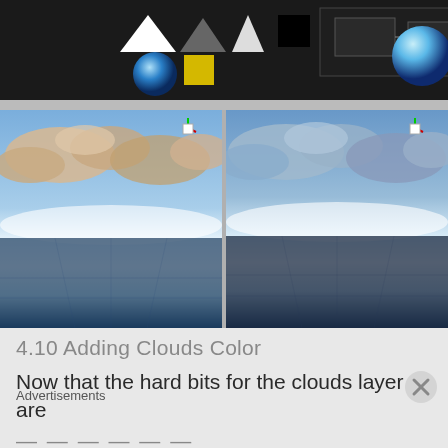[Figure (screenshot): Dark toolbar/node editor with mountain icons, blue sphere, yellow square, and a 3D sphere preview on the right]
[Figure (screenshot): Two side-by-side 3D viewport renders showing clouds over a blue sky/ocean horizon — left with warm/beige clouds, right with grey-blue clouds]
4.10 Adding Clouds Color
Now that the hard bits for the clouds layer are
Advertisements